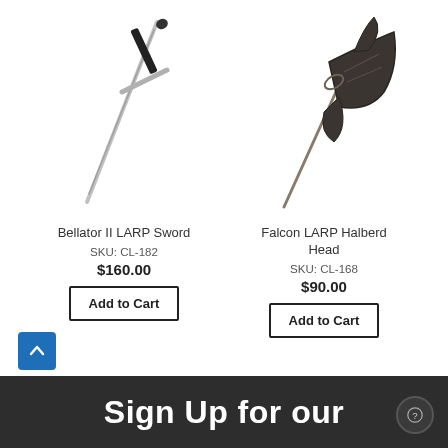[Figure (photo): Bellator II LARP Sword - a long silver sword diagonally placed]
Bellator II LARP Sword
SKU: CL-182
$160.00
Add to Cart
[Figure (photo): Falcon LARP Halberd Head - a dark ornate axe/halberd head on a pole]
Falcon LARP Halberd Head
SKU: CL-168
$90.00
Add to Cart
Sign Up for our